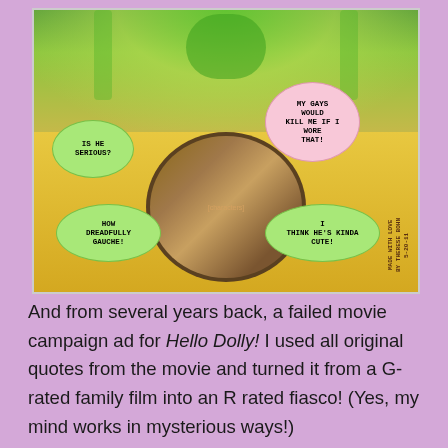[Figure (illustration): Wizard of Oz themed movie ad with characters (Scarecrow, Cowardly Lion, Dorothy, Tin Man) in a circle, with green Wizard face above, on yellow background, with four speech bubbles containing humorous quotes. Speech bubbles say: 'IS HE SERIOUS?', 'MY GAYS WOULD KILL ME IF I WORE THAT!', 'HOW DREADFULLY GAUCHE!', 'I THINK HE'S KINDA CUTE!'. Sideways text reads 'MADE WITH LOVE BY THERESE BOHN 5-20-11'.]
And from several years back, a failed movie campaign ad for Hello Dolly!  I used all original quotes from the movie and turned it from a G-rated family film into an R rated fiasco!  (Yes, my mind works in mysterious ways!)